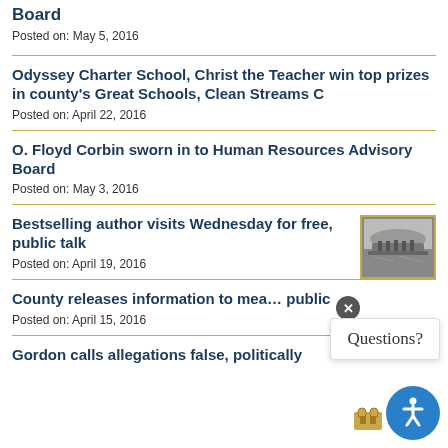Board
Posted on: May 5, 2016
Odyssey Charter School, Christ the Teacher win top prizes in county's Great Schools, Clean Streams C
Posted on: April 22, 2016
O. Floyd Corbin sworn in to Human Resources Advisory Board
Posted on: May 3, 2016
Bestselling author visits Wednesday for free, public talk
[Figure (photo): Black and white historical photo of people in a boat or water scene]
Posted on: April 19, 2016
County releases information to media and public
Posted on: April 15, 2016
Gordon calls allegations false, politically